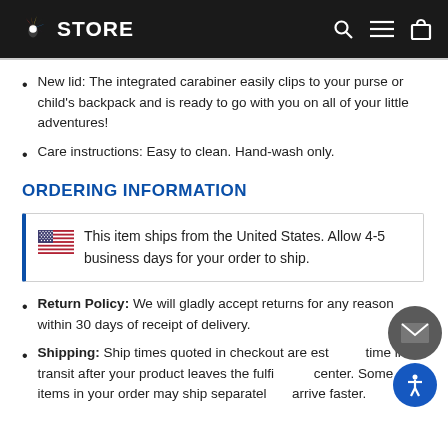NBC STORE
New lid: The integrated carabiner easily clips to your purse or child's backpack and is ready to go with you on all of your little adventures!
Care instructions: Easy to clean. Hand-wash only.
ORDERING INFORMATION
🇺🇸 This item ships from the United States. Allow 4-5 business days for your order to ship.
Return Policy: We will gladly accept returns for any reason within 30 days of receipt of delivery.
Shipping: Ship times quoted in checkout are estimated time in transit after your product leaves the fulfillment center. Some items in your order may ship separately to arrive faster.